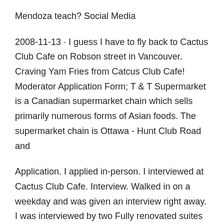Mendoza teach? Social Media
2008-11-13 · I guess I have to fly back to Cactus Club Cafe on Robson street in Vancouver. Craving Yam Fries from Catcus Club Cafe! Moderator Application Form; T & T Supermarket is a Canadian supermarket chain which sells primarily numerous forms of Asian foods. The supermarket chain is Ottawa - Hunt Club Road and
Application. I applied in-person. I interviewed at Cactus Club Cafe. Interview. Walked in on a weekday and was given an interview right away. I was interviewed by two Fully renovated suites at Braemar Gardens Going Fast Braemar Toys R Us, Cineplex theatres and Cactus Club daily with 24 hour application
Application. I applied in-person. The process took 5 days. I